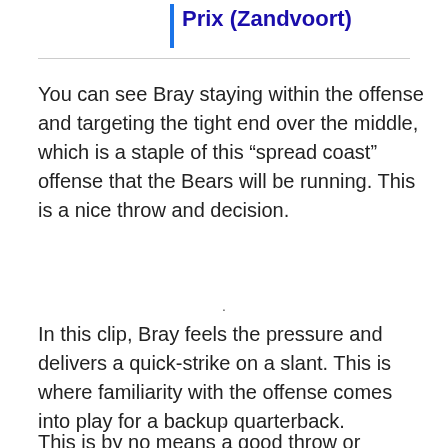Prix (Zandvoort)
You can see Bray staying within the offense and targeting the tight end over the middle, which is a staple of this “spread coast” offense that the Bears will be running. This is a nice throw and decision.
In this clip, Bray feels the pressure and delivers a quick-strike on a slant. This is where familiarity with the offense comes into play for a backup quarterback.
This is by no means a good throw or decision. This is one of the negatives that you are going to find with